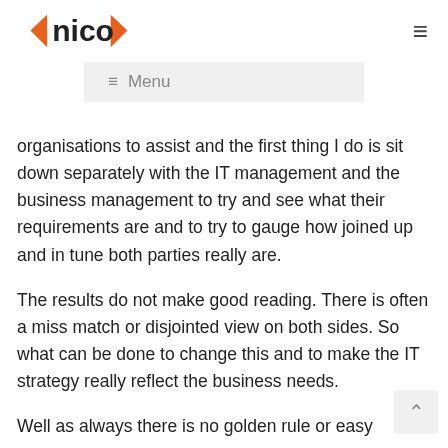nico
≡ Menu
organisations to assist and the first thing I do is sit down separately with the IT management and the business management to try and see what their requirements are and to try to gauge how joined up and in tune both parties really are.
The results do not make good reading. There is often a miss match or disjointed view on both sides. So what can be done to change this and to make the IT strategy really reflect the business needs.
Well as always there is no golden rule or easy